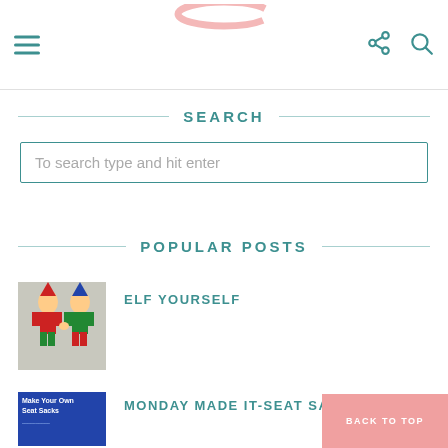Navigation header with hamburger menu, logo, share and search icons
SEARCH
To search type and hit enter
POPULAR POSTS
[Figure (photo): Two elf paper dolls in colorful costumes]
ELF YOURSELF
[Figure (photo): Make Your Own Seat Sacks promotional image]
MONDAY MADE IT-SEAT SACKS
BACK TO TOP